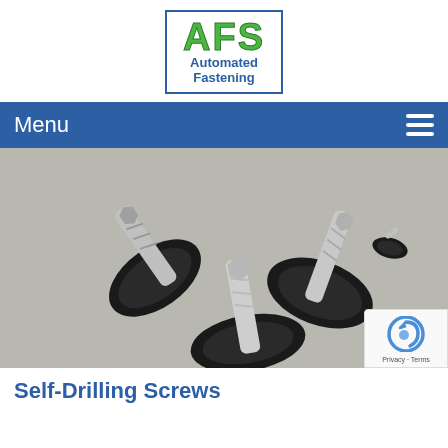[Figure (logo): AFS Automated Fastening logo — green block letters AFS with blue border, blue subtitle text Automated Fastening]
Menu
[Figure (photo): Photograph of four self-drilling screws with black rubber/EPDM washers and silver zinc-plated shanks arranged on a light grey background]
Self-Drilling Screws